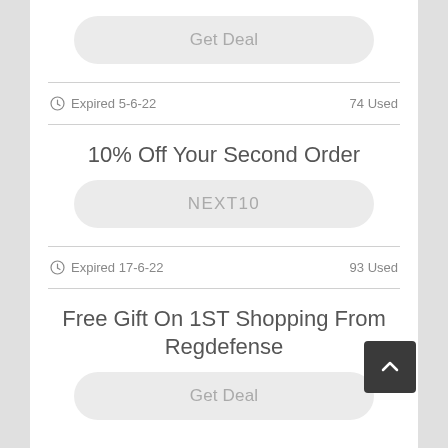Get Deal
Expired 5-6-22   74 Used
10% Off Your Second Order
NEXT10
Expired 17-6-22   93 Used
Free Gift On 1ST Shopping From Regdefense
Get Deal